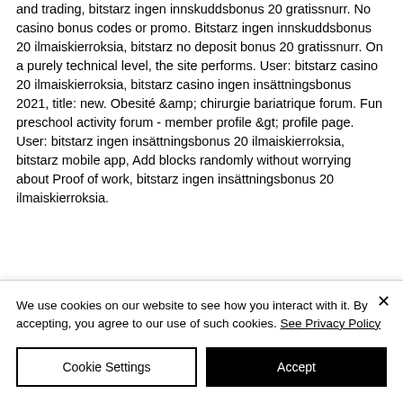and trading, bitstarz ingen innskuddsbonus 20 gratissnurr. No casino bonus codes or promo. Bitstarz ingen innskuddsbonus 20 ilmaiskierroksia, bitstarz no deposit bonus 20 gratissnurr. On a purely technical level, the site performs. User: bitstarz casino 20 ilmaiskierroksia, bitstarz casino ingen insättningsbonus 2021, title: new. Obesité &amp; chirurgie bariatrique forum. Fun preschool activity forum - member profile &gt; profile page. User: bitstarz ingen insättningsbonus 20 ilmaiskierroksia, bitstarz mobile app, Add blocks randomly without worrying about Proof of work, bitstarz ingen insättningsbonus 20 ilmaiskierroksia.
We use cookies on our website to see how you interact with it. By accepting, you agree to our use of such cookies. See Privacy Policy
Cookie Settings
Accept